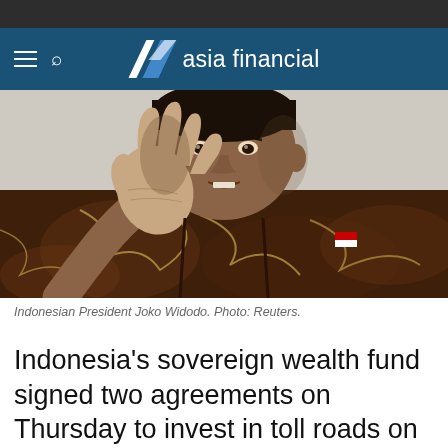asia financial
[Figure (photo): Indonesian President Joko Widodo raising his right hand open, wearing a batik shirt with an Indonesian flag pin, photographed by Reuters.]
Indonesian President Joko Widodo. Photo: Reuters.
Indonesia’s sovereign wealth fund signed two agreements on Thursday to invest in toll roads on